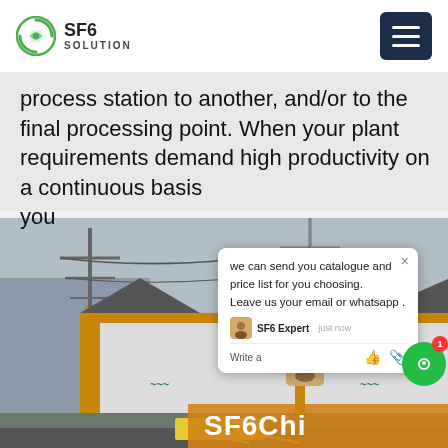SF6 SOLUTION
process station to another, and/or to the final processing point. When your plant requirements demand high productivity on a continuous basis
you
[Figure (photo): A truck with open rear doors at an electrical substation, showing transformers and power lines in the background]
we can send you catalogue and price list for you choosing. Leave us your email or whatsapp . SF6 Expert just now Write a
SF6Chi